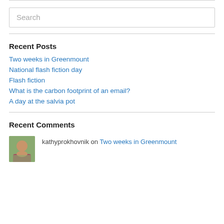Search
Recent Posts
Two weeks in Greenmount
National flash fiction day
Flash fiction
What is the carbon footprint of an email?
A day at the salvia pot
Recent Comments
kathyprokhovnik on Two weeks in Greenmount